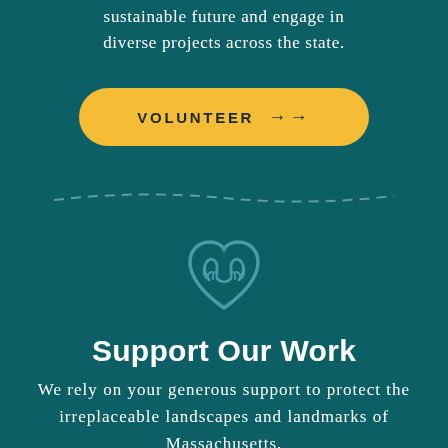sustainable future and engage in diverse projects across the state.
[Figure (illustration): Yellow rounded rectangle button with text VOLUNTEER and double right arrow]
[Figure (illustration): Dashed curved line divider in teal color]
[Figure (illustration): Teal outline icon of hands forming a heart shape]
Support Our Work
We rely on your generous support to protect the irreplaceable landscapes and landmarks of Massachusetts.